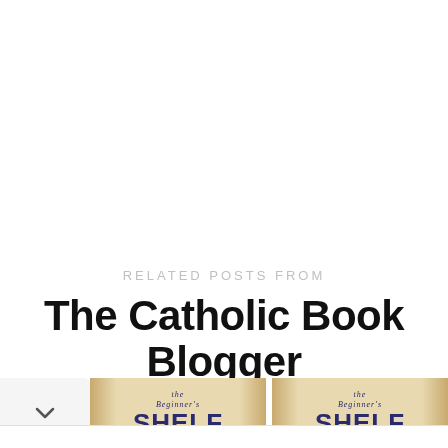RELATED POSTS FROM
The Catholic Book Blogger
[Figure (screenshot): Two book thumbnail images side by side showing 'The Beginner's Shelf' logo on a tan/cream colored background, with a chevron/down arrow button on the left side]